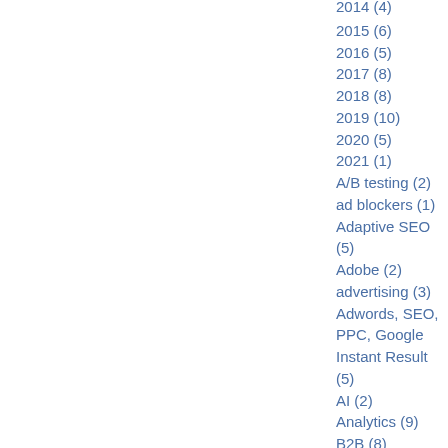2014 (4)
2015 (6)
2016 (5)
2017 (8)
2018 (8)
2019 (10)
2020 (5)
2021 (1)
A/B testing (2)
ad blockers (1)
Adaptive SEO (5)
Adobe (2)
advertising (3)
Adwords, SEO, PPC, Google Instant Result (5)
AI (2)
Analytics (9)
B2B (8)
Big Data (1)